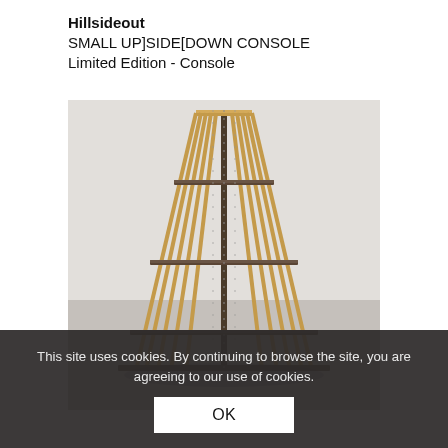Hillsideout
SMALL UP]SIDE[DOWN CONSOLE
Limited Edition - Console
[Figure (photo): Tall narrow wooden console/shelving unit with angular lattice structure resembling an obelisk or tower. Made of light oak wood with dark metal shelf inserts, photographed against a plain light grey background.]
This site uses cookies. By continuing to browse the site, you are agreeing to our use of cookies.